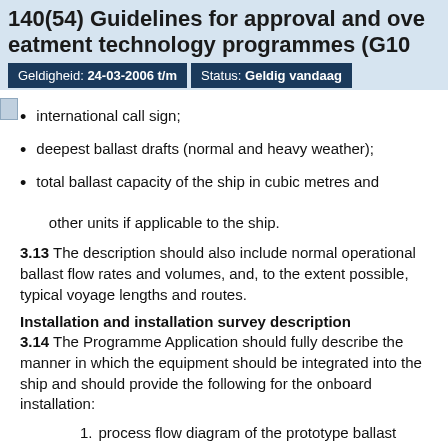140(54) Guidelines for approval and ove
eatment technology programmes (G10
Geldigheid: 24-03-2006 t/m   Status: Geldig vandaag
international call sign;
deepest ballast drafts (normal and heavy weather);
total ballast capacity of the ship in cubic metres and other units if applicable to the ship.
3.13 The description should also include normal operational ballast flow rates and volumes, and, to the extent possible, typical voyage lengths and routes.
Installation and installation survey description
3.14 The Programme Application should fully describe the manner in which the equipment should be integrated into the ship and should provide the following for the onboard installation:
1. process flow diagram of the prototype ballast water treatment technology;